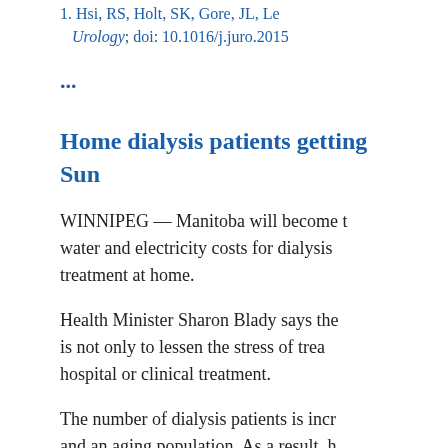1. Hsi, RS, Holt, SK, Gore, JL, Le... Urology; doi: 10.1016/j.juro.2015...
...
Home dialysis patients getting... Sun
WINNIPEG — Manitoba will become ... water and electricity costs for dialysis ... treatment at home.
Health Minister Sharon Blady says the... is not only to lessen the stress of trea... hospital or clinical treatment.
The number of dialysis patients is incr... and an aging population. As a result, ... incidence of new patients and preva... Canada. It's estimated that each year... meaning 14 more clinical spots have ... taxing the health-care system.
“We’ve got these challenges where w...